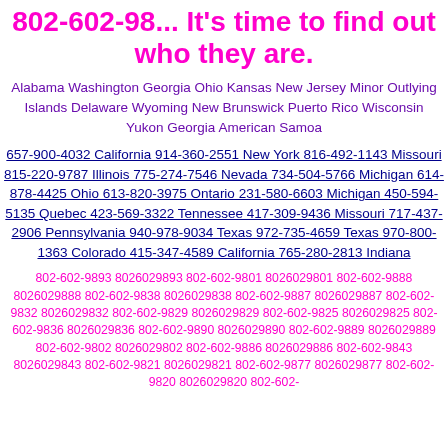802-602-98... It's time to find out who they are.
Alabama Washington Georgia Ohio Kansas New Jersey Minor Outlying Islands Delaware Wyoming New Brunswick Puerto Rico Wisconsin Yukon Georgia American Samoa
657-900-4032 California 914-360-2551 New York 816-492-1143 Missouri 815-220-9787 Illinois 775-274-7546 Nevada 734-504-5766 Michigan 614-878-4425 Ohio 613-820-3975 Ontario 231-580-6603 Michigan 450-594-5135 Quebec 423-569-3322 Tennessee 417-309-9436 Missouri 717-437-2906 Pennsylvania 940-978-9034 Texas 972-735-4659 Texas 970-800-1363 Colorado 415-347-4589 California 765-280-2813 Indiana
802-602-9893 8026029893 802-602-9801 8026029801 802-602-9888 8026029888 802-602-9838 8026029838 802-602-9887 8026029887 802-602-9832 8026029832 802-602-9829 8026029829 802-602-9825 8026029825 802-602-9836 8026029836 802-602-9890 8026029890 802-602-9889 8026029889 802-602-9802 8026029802 802-602-9886 8026029886 802-602-9843 8026029843 802-602-9821 8026029821 802-602-9877 8026029877 802-602-9820 8026029820 802-602-...